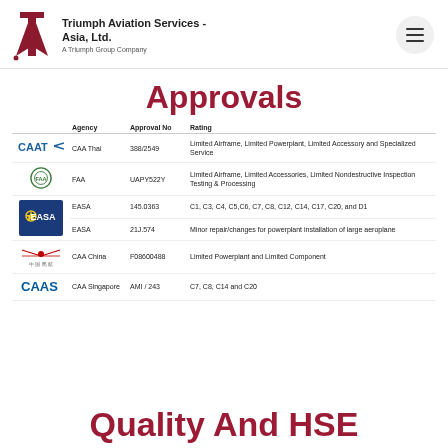Triumph Aviation Services - Asia, Ltd. A Triumph Group Company
Approvals
|  | Agency | Approval No | Rating |
| --- | --- | --- | --- |
| [CAAT logo] | CAA Thai | 388/2549 | Limited Airframe, Limited Powerplant, Limited Accessory and Specialized Service |
| [FAA logo] | FAA | UAPY522Y | Limited Airframe, Limited Accessories, Limited Nondestructive Inspection Testing & Processing |
| [EASA logo] | EASA | 145.0363 | C1, C3, C4, C5,C6, C7, C8, C12, C14, C17, C20, and D1 |
| [EASA logo] | EASA | 21J.574 | Minor repair/changes for powerplant installation of large aeroplane |
| [CAA China logo] | CAA China | F08600488 | Limited Powerplant and Limited Component |
| [CAAS logo] | CAA Singapore | AMI / 243 | C7, C8, C14 and C20 |
Quality And HSE